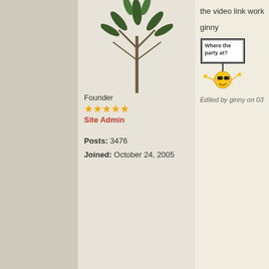[Figure (illustration): Tree/plant silhouette (cannabis-like leaf shape) used as user avatar]
Founder
[Figure (other): Five gold stars rating]
Site Admin
Posts: 3476
Joined: October 24, 2005
the video link work
ginny
[Figure (illustration): Pixel art sign reading 'Where the party at?' held by a smiley face emoji character]
Edited by ginny on 03
Barbara
Posted on 03/03/2013
[Figure (photo): An owl made from coffee beans, with two coffee cup tops as eyes]
Newbie
Thanks Ginny for c